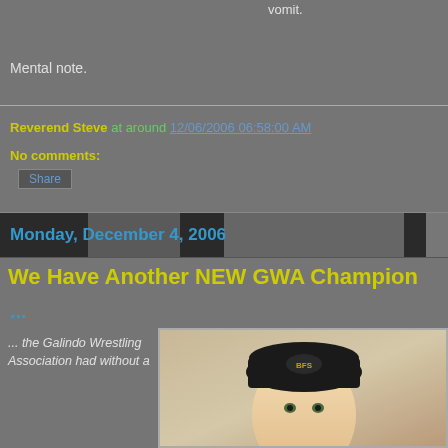vomit.
Mental note.
Reverend Steve at around 12/06/2006 06:58:00 AM
No comments:
Share
Monday, December 4, 2006
We Have Another NEW GWA Champion
...
... the Galindo Wrestling Association had without a
[Figure (photo): Photo of a person wearing a dark knit beanie hat with a logo on it]